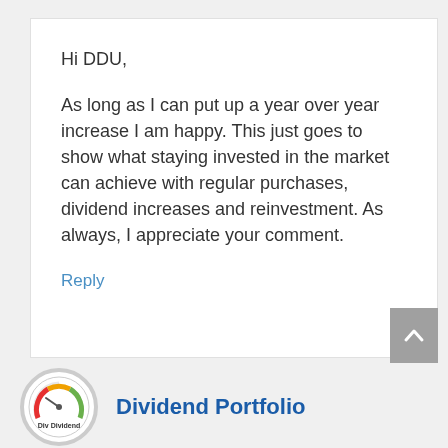Hi DDU,
As long as I can put up a year over year increase I am happy. This just goes to show what staying invested in the market can achieve with regular purchases, dividend increases and reinvestment. As always, I appreciate your comment.
Reply
[Figure (logo): Circular logo for Dividend Portfolio website]
Dividend Portfolio